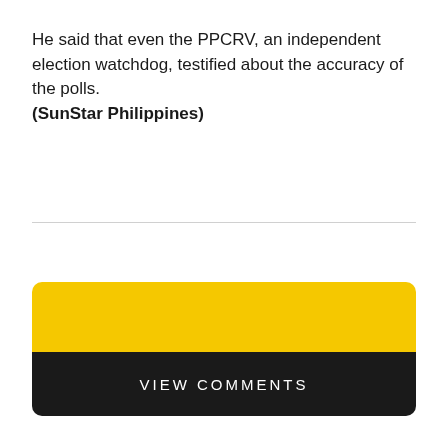He said that even the PPCRV, an independent election watchdog, testified about the accuracy of the polls. (SunStar Philippines)
[Figure (infographic): Social media icons: Facebook, Twitter, YouTube, Email]
VIEW COMMENTS